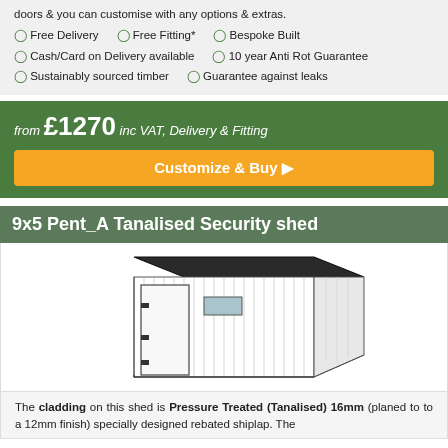doors & you can customise with any options & extras.
✔ Free Delivery   ✔ Free Fitting*   ✔ Bespoke Built
✔ Cash/Card on Delivery available   ✔ 10 year Anti Rot Guarantee
✔ Sustainably sourced timber   ✔ Guarantee against leaks
from £1270 inc VAT, Delivery & Fitting
Customize & Buy ❯
9x5 Pent_A Tanalised Security shed
[Figure (illustration): 3D line drawing illustration of a pent roof security shed with vertical shiplap cladding, single door with hinges, and a small window]
The cladding on this shed is Pressure Treated (Tanalised) 16mm (planed to to a 12mm finish) specially designed rebated shiplap. The